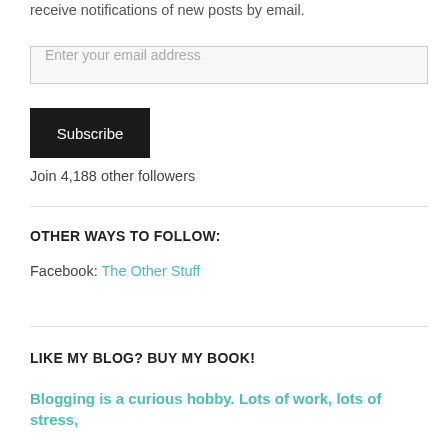receive notifications of new posts by email.
Enter your email address
Subscribe
Join 4,188 other followers
OTHER WAYS TO FOLLOW:
Facebook: The Other Stuff
LIKE MY BLOG? BUY MY BOOK!
Blogging is a curious hobby. Lots of work, lots of stress,